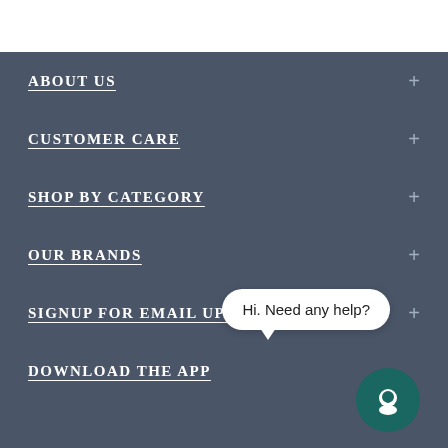ABOUT US
CUSTOMER CARE
SHOP BY CATEGORY
OUR BRANDS
SIGNUP FOR EMAIL UPDATES
DOWNLOAD THE APP
Hi. Need any help?